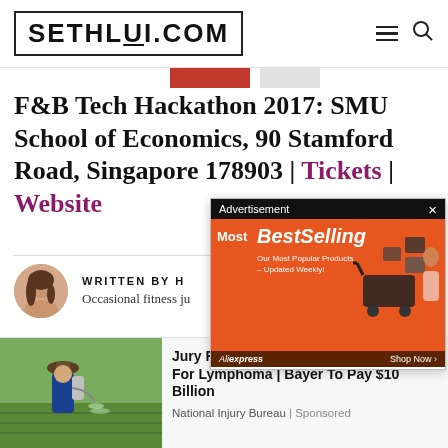SETHLUI.COM
F&B Tech Hackathon 2017: SMU School of Economics, 90 Stamford Road, Singapore 178903 | Tickets | Website
WRITTEN BY H...
Occasional fitness ju... food itself? Free food.
[Figure (advertisement): Advertisement overlay showing AliExpress Most BestSelling products banner with orange background and shopping cart graphic]
[Figure (photo): Photo of a person in blue clothing and hat spraying pesticide on a green field]
Jury Finds Roundup Responsible For Lymphoma | Bayer To Pay $10 Billion
National Injury Bureau | Sponsored